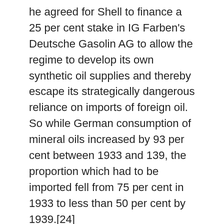he agreed for Shell to finance a 25 per cent stake in IG Farben's Deutsche Gasolin AG to allow the regime to develop its own synthetic oil supplies and thereby escape its strategically dangerous reliance on imports of foreign oil. So while German consumption of mineral oils increased by 93 per cent between 1933 and 139, the proportion which had to be imported fell from 75 per cent in 1933 to less than 50 per cent by 1939.[24]
Sir Henri eventually resigned as chairman in 1936, a post he'd held for 36 years, but he remained on the board of directors and continued to use his huge financial wealth and influence to support Hitler's regime; even moving the same year to take up permanent residence, except for holidays in